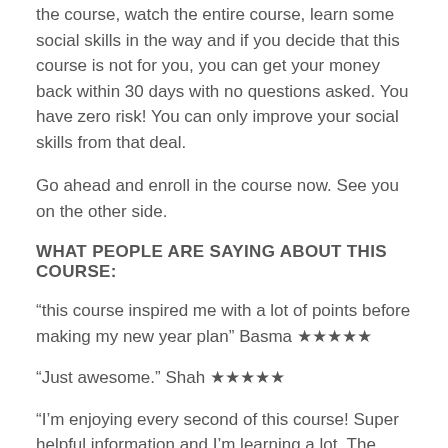the course, watch the entire course, learn some social skills in the way and if you decide that this course is not for you, you can get your money back within 30 days with no questions asked. You have zero risk! You can only improve your social skills from that deal.
Go ahead and enroll in the course now. See you on the other side.
WHAT PEOPLE ARE SAYING ABOUT THIS COURSE:
“this course inspired me with a lot of points before making my new year plan” Basma ★★★★★
“Just awesome.” Shah ★★★★★
“I’m enjoying every second of this course! Super helpful information and I’m learning a lot. The instructor is an outstanding presenter, warm and engaging, with a great